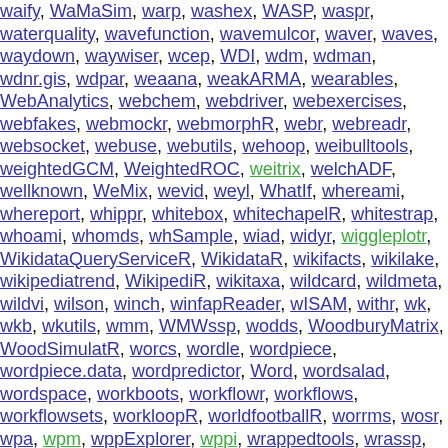waify, WaMaSim, warp, washex, WASP, waspr, waterquality, wavefunction, wavemulcor, waver, waves, waydown, waywiser, wcep, WDI, wdm, wdman, wdnr.gis, wdpar, weaana, weakARMA, wearables, WebAnalytics, webchem, webdriver, webexercises, webfakes, webmockr, webmorphR, webr, webreadr, websocket, webuse, webutils, wehoop, weibulltools, weightedGCM, WeightedROC, weitrix, welchADF, wellknown, WeMix, wevid, weyl, WhatIf, whereami, whereport, whippr, whitebox, whitechapelR, whitestrap, whoami, whomds, whSample, wiad, widyr, wiggleplotr, WikidataQueryServiceR, WikidataR, wikifacts, wikilake, wikipediatrend, WikipediR, wikitaxa, wildcard, wildmeta, wildvir, wilson, winch, winfapReader, wISAM, withr, wk, wkb, wkutils, wmm, WMWssp, wodds, WoodburyMatrix, WoodSimulatR, worcs, wordle, wordpiece, wordpiece.data, wordpredictor, Wordr, wordsalad, wordspace, workboots, workflowr, workflows, workflowsets, workloopR, worldfootballR, worrms, wosr, wpa, wpm, wppExplorer, wppi, wrappedtools, wrassp, WRI, writexl, wrswoR, wru, wsjplot, wsyn, WtTopsis, WufooR, wyz.code.metaTesting, wyz.code.offensiveProgramming, wyz.code.rd...